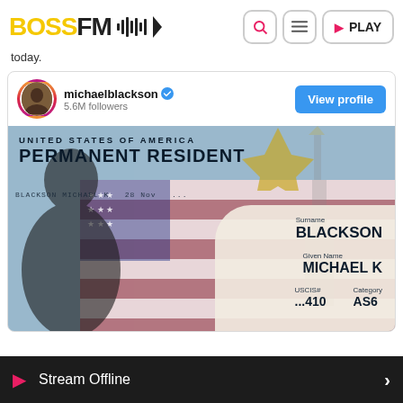[Figure (screenshot): BossFM website header with logo and navigation buttons (search, menu, play)]
today.
[Figure (screenshot): Instagram embed showing michaelblackson account with 5.6M followers, verified badge, View profile button, and photo of a US Permanent Resident green card showing Surname: BLACKSON, Given Name: MICHAEL K, USCIS# ...410, Category AS6]
Stream Offline